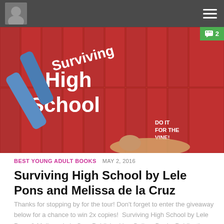Navigation header with avatar and menu icon
[Figure (photo): Book cover for Surviving High School showing a girl lying on the floor in front of red school lockers with text 'Surviving High School Do It For The Vine!']
BEST YOUNG ADULT BOOKS  MAY 2, 2016
Surviving High School by Lele Pons and Melissa de la Cruz
Thanks for stopping by for the tour! Don't forget to enter the giveaway below for a chance to win 2x copies!  Surviving High School by Lele Pons & Melissa de la Cruz Published by: Gallery Books Publication...